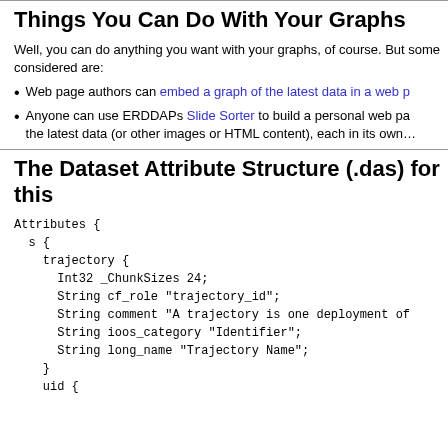Things You Can Do With Your Graphs
Well, you can do anything you want with your graphs, of course. But some things worth considering are:
Web page authors can embed a graph of the latest data in a web p…
Anyone can use ERDDAPs Slide Sorter to build a personal web pa… the latest data (or other images or HTML content), each in its own…
The Dataset Attribute Structure (.das) for this
Attributes {
  s {
    trajectory {
      Int32 _ChunkSizes 24;
      String cf_role "trajectory_id";
      String comment "A trajectory is one deployment of
      String ioos_category "Identifier";
      String long_name "Trajectory Name";
    }